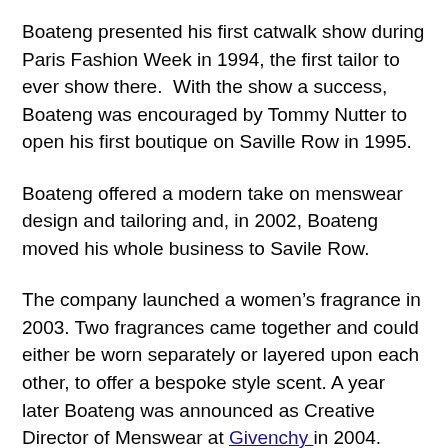Boateng presented his first catwalk show during Paris Fashion Week in 1994, the first tailor to ever show there.  With the show a success, Boateng was encouraged by Tommy Nutter to open his first boutique on Saville Row in 1995.
Boateng offered a modern take on menswear design and tailoring and, in 2002, Boateng moved his whole business to Savile Row.
The company launched a women’s fragrance in 2003. Two fragrances came together and could either be worn separately or layered upon each other, to offer a bespoke style scent. A year later Boateng was announced as Creative Director of Menswear at Givenchy in 2004.
The Victoria & Albert Museum honoured Boateng with a 20 year retrospective exhibition in 2005. Three years later a new flagship store and headquarters were launched in another location on Saville Row. Boateng left Givenchy in 2007.